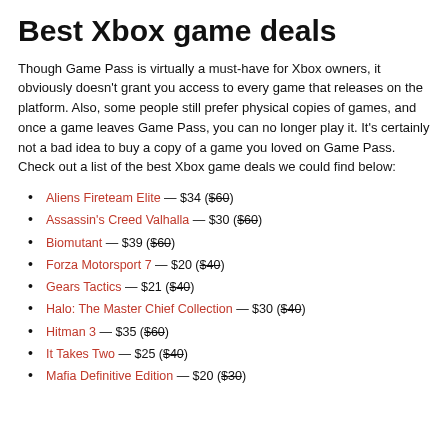Best Xbox game deals
Though Game Pass is virtually a must-have for Xbox owners, it obviously doesn't grant you access to every game that releases on the platform. Also, some people still prefer physical copies of games, and once a game leaves Game Pass, you can no longer play it. It's certainly not a bad idea to buy a copy of a game you loved on Game Pass. Check out a list of the best Xbox game deals we could find below:
Aliens Fireteam Elite — $34 ($60)
Assassin's Creed Valhalla — $30 ($60)
Biomutant — $39 ($60)
Forza Motorsport 7 — $20 ($40)
Gears Tactics — $21 ($40)
Halo: The Master Chief Collection — $30 ($40)
Hitman 3 — $35 ($60)
It Takes Two — $25 ($40)
Mafia Definitive Edition — $20 ($30)